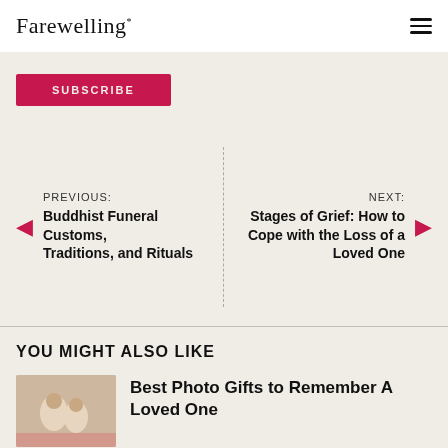Farewelling*
SUBSCRIBE
PREVIOUS: Buddhist Funeral Customs, Traditions, and Rituals
NEXT: Stages of Grief: How to Cope with the Loss of a Loved One
YOU MIGHT ALSO LIKE
Best Photo Gifts to Remember A Loved One